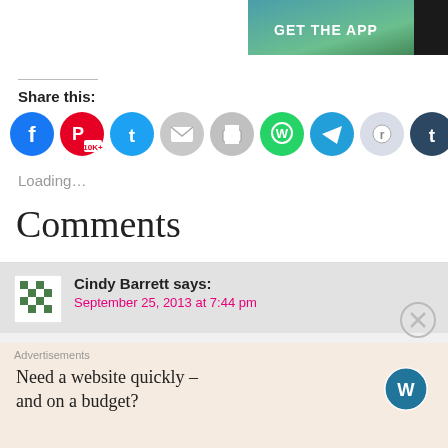[Figure (screenshot): GET THE APP banner advertisement in teal/green gradient with dark corner]
Share this:
[Figure (infographic): Row of social media share icons: Facebook, Pinterest (10K+), Twitter, Email, Print, WhatsApp, Telegram, Reddit, Tumblr]
Loading...
Comments
Cindy Barrett says:
September 25, 2013 at 7:44 pm
Beautiful! And I love your directions! Very well written and re… you!
Advertisements
Need a website quickly — and on a budget?